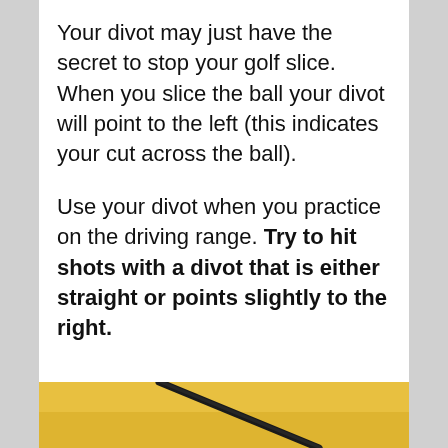Your divot may just have the secret to stop your golf slice. When you slice the ball your divot will point to the left (this indicates your cut across the ball).
Use your divot when you practice on the driving range. Try to hit shots with a divot that is either straight or points slightly to the right.
[Figure (photo): Close-up photo of a golf club on a yellow-green grass/turf background, partially visible at the bottom of the page.]